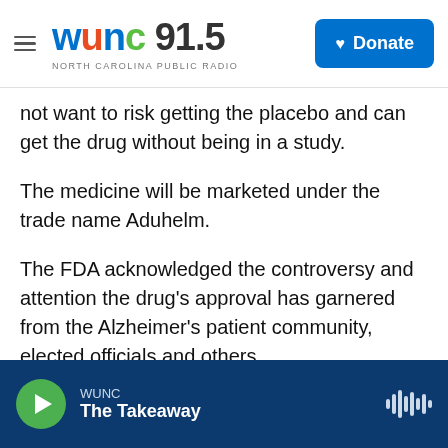WUNC 91.5 North Carolina Public Radio | Donate
not want to risk getting the placebo and can get the drug without being in a study.
The medicine will be marketed under the trade name Aduhelm.
The FDA acknowledged the controversy and attention the drug's approval has garnered from the Alzheimer's patient community, elected officials and others.
The agency opted to put Aduhelm on the FDA's accelerated approval pathway, which is meant to
WUNC | The Takeaway